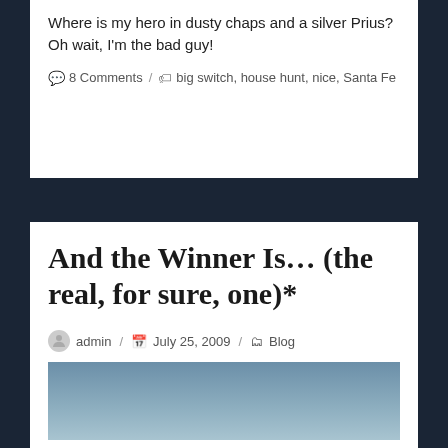Where is my hero in dusty chaps and a silver Prius? Oh wait, I'm the bad guy!
8 Comments / big switch, house hunt, nice, Santa Fe
And the Winner Is… (the real, for sure, one)*
admin / July 25, 2009 / Blog
[Figure (photo): Partial view of a sky/landscape photograph, blue-grey gradient]